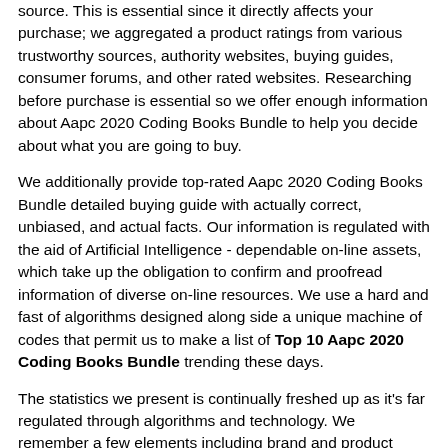source. This is essential since it directly affects your purchase; we aggregated a product ratings from various trustworthy sources, authority websites, buying guides, consumer forums, and other rated websites. Researching before purchase is essential so we offer enough information about Aapc 2020 Coding Books Bundle to help you decide about what you are going to buy.
We additionally provide top-rated Aapc 2020 Coding Books Bundle detailed buying guide with actually correct, unbiased, and actual facts. Our information is regulated with the aid of Artificial Intelligence - dependable on-line assets, which take up the obligation to confirm and proofread information of diverse on-line resources. We use a hard and fast of algorithms designed along side a unique machine of codes that permit us to make a list of Top 10 Aapc 2020 Coding Books Bundle trending these days.
The statistics we present is continually freshed up as it's far regulated through algorithms and technology. We remember a few elements including brand and product value, quality of